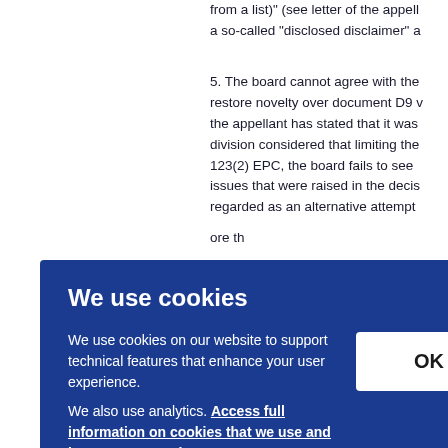from a list)" (see letter of the appell... a so-called "disclosed disclaimer" a...
5. The board cannot agree with the... restore novelty over document D9 w... the appellant has stated that it was... division considered that limiting the... 123(2) EPC, the board fails to see... issues that were raised in the decis... regarded as an alternative attempt... ore th... uld h... d not...
We use cookies
We use cookies on our website to support technical features that enhance your user experience.
We also use analytics. Access full information on cookies that we use and how to manage them
OK